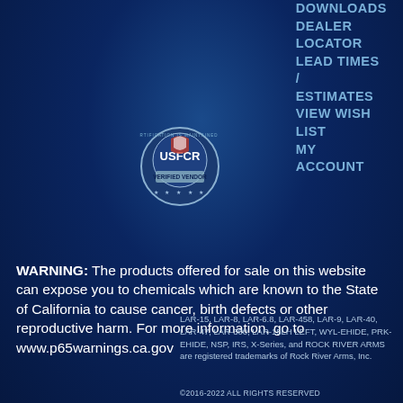DOWNLOADS
DEALER LOCATOR
LEAD TIMES / ESTIMATES
VIEW WISH LIST
MY ACCOUNT
[Figure (logo): USFCR Verified Vendor badge with eagle emblem, red white and blue circular seal]
WARNING: The products offered for sale on this website can expose you to chemicals which are known to the State of California to cause cancer, birth defects or other reproductive harm. For more information, go to www.p65warnings.ca.gov
LAR-15, LAR-8, LAR-6.8, LAR-458, LAR-9, LAR-40, LAR-47, LAR-300, LAR-15LH LEFT, WYL-EHIDE, PRK-EHIDE, NSP, IRS, X-Series, and ROCK RIVER ARMS are registered trademarks of Rock River Arms, Inc.
©2016-2022 ALL RIGHTS RESERVED